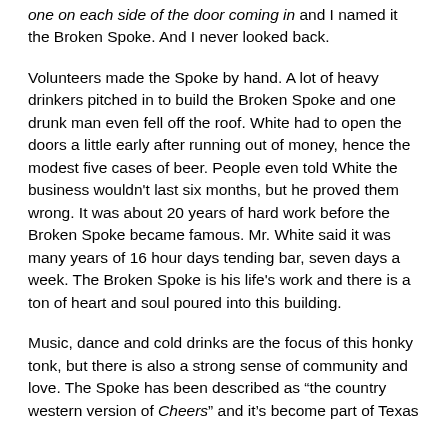one on each side of the door coming in and I named it the Broken Spoke. And I never looked back.
Volunteers made the Spoke by hand. A lot of heavy drinkers pitched in to build the Broken Spoke and one drunk man even fell off the roof. White had to open the doors a little early after running out of money, hence the modest five cases of beer. People even told White the business wouldn't last six months, but he proved them wrong. It was about 20 years of hard work before the Broken Spoke became famous. Mr. White said it was many years of 16 hour days tending bar, seven days a week. The Broken Spoke is his life's work and there is a ton of heart and soul poured into this building.
Music, dance and cold drinks are the focus of this honky tonk, but there is also a strong sense of community and love. The Spoke has been described as "the country western version of Cheers" and it's become part of Texas